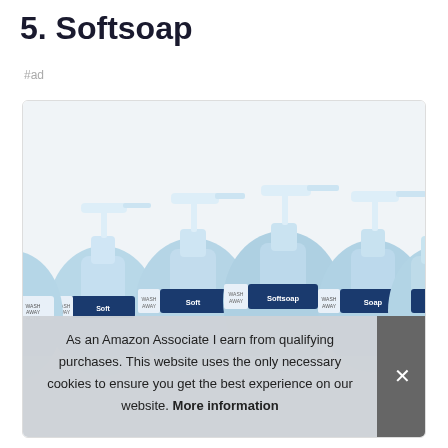5. Softsoap
#ad
[Figure (photo): Multiple Softsoap hand soap pump bottles arranged in rows, light blue translucent bottles with white pumps and dark blue labels reading Softsoap and Wash Away]
As an Amazon Associate I earn from qualifying purchases. This website uses the only necessary cookies to ensure you get the best experience on our website. More information